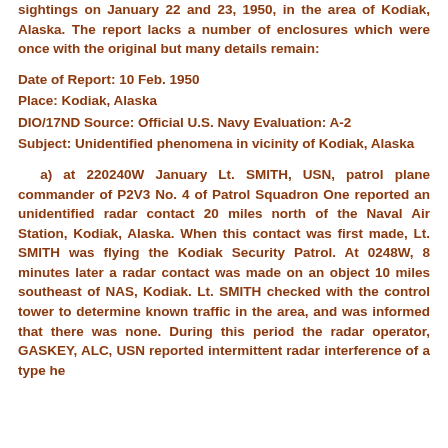sightings on January 22 and 23, 1950, in the area of Kodiak, Alaska. The report lacks a number of enclosures which were once with the original but many details remain:
Date of Report: 10 Feb. 1950
Place: Kodiak, Alaska
DIO/17ND Source: Official U.S. Navy Evaluation: A-2
Subject: Unidentified phenomena in vicinity of Kodiak, Alaska
a) at 220240W January Lt. SMITH, USN, patrol plane commander of P2V3 No. 4 of Patrol Squadron One reported an unidentified radar contact 20 miles north of the Naval Air Station, Kodiak, Alaska. When this contact was first made, Lt. SMITH was flying the Kodiak Security Patrol. At 0248W, 8 minutes later a radar contact was made on an object 10 miles southeast of NAS, Kodiak. Lt. SMITH checked with the control tower to determine known traffic in the area, and was informed that there was none. During this period the radar operator, GASKEY, ALC, USN reported intermittent radar interference of a type he